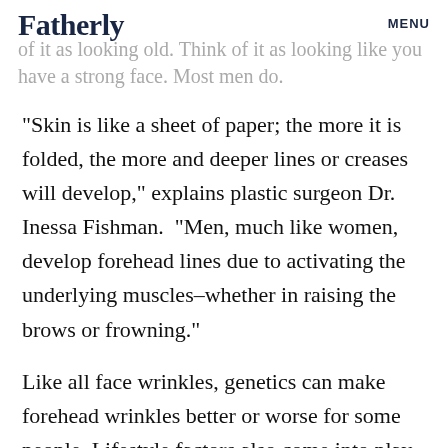Fatherly   MENU
of it as looking old. Think of it as looking like you have a strong face. Most men do.
“Skin is like a sheet of paper; the more it is folded, the more and deeper lines or creases will develop,” explains plastic surgeon Dr. Inessa Fishman. “Men, much like women, develop forehead lines due to activating the underlying muscles–whether in raising the brows or frowning.”
Like all face wrinkles, genetics can make forehead wrinkles better or worse for some people. Lifestyle factors also come into play. People who are chronically stressed, smoke, fail to wear sunscreen, fail to hydrate, or are vitamin deficient are more